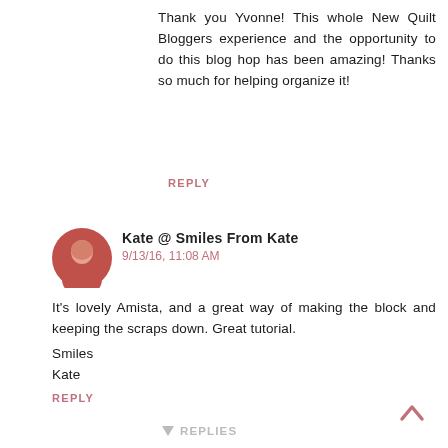Thank you Yvonne! This whole New Quilt Bloggers experience and the opportunity to do this blog hop has been amazing! Thanks so much for helping organize it!
REPLY
Kate @ Smiles From Kate
9/13/16, 11:08 AM
It's lovely Amista, and a great way of making the block and keeping the scraps down. Great tutorial.
Smiles
Kate
REPLY
REPLIES
Amista Baker
9/14/16, 1:29 PM
Thanks so much Kate!